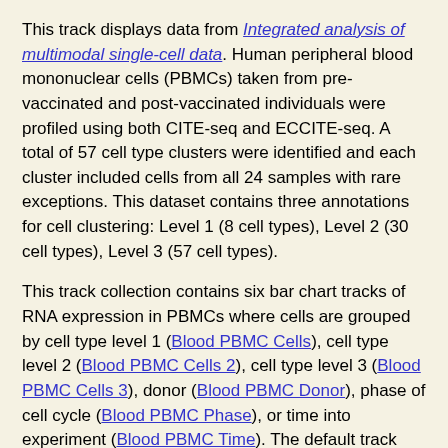This track displays data from Integrated analysis of multimodal single-cell data. Human peripheral blood mononuclear cells (PBMCs) taken from pre-vaccinated and post-vaccinated individuals were profiled using both CITE-seq and ECCITE-seq. A total of 57 cell type clusters were identified and each cluster included cells from all 24 samples with rare exceptions. This dataset contains three annotations for cell clustering: Level 1 (8 cell types), Level 2 (30 cell types), Level 3 (57 cell types).
This track collection contains six bar chart tracks of RNA expression in PBMCs where cells are grouped by cell type level 1 (Blood PBMC Cells), cell type level 2 (Blood PBMC Cells 2), cell type level 3 (Blood PBMC Cells 3), donor (Blood PBMC Donor), phase of cell cycle (Blood PBMC Phase), or time into experiment (Blood PBMC Time). The default track displayed is Blood PBMC Cells.
Display Conventions
The cell types are colored by which class they belong to according to the following table.